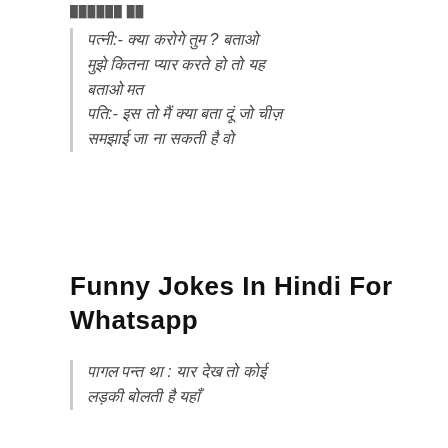██████ ██
पत्नी:- क्या करोगे तुम ? बताओ मुझे कितना प्यार करते हो तो यह बताओ मत
पति:- इस तो मैं क्या बता दूं जो चीज़ समझाई जा ना सकती है वो
Funny Jokes In Hindi For Whatsapp
पागल पन्त था : यार देख तो कोई लड़की बोलती है यहाँ